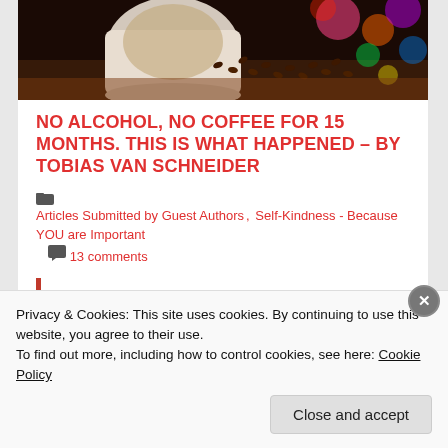[Figure (photo): A coffee cup tipped on its side with coffee beans spilling out, bokeh colorful lights in the background]
NO ALCOHOL, NO COFFEE FOR 15 MONTHS. THIS IS WHAT HAPPENED – BY TOBIAS VAN SCHNEIDER
Articles Submitted by Guest Authors, Self-Kindness - Because YOU are Important  13 comments
Privacy & Cookies: This site uses cookies. By continuing to use this website, you agree to their use.
To find out more, including how to control cookies, see here: Cookie Policy
Close and accept